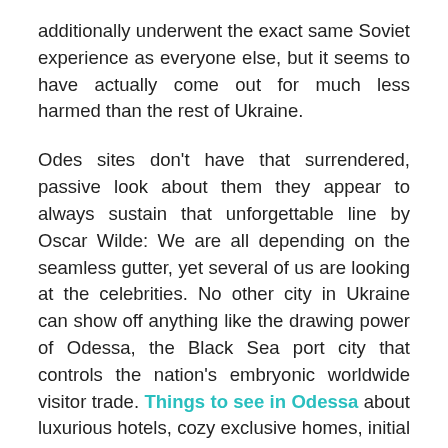additionally underwent the exact same Soviet experience as everyone else, but it seems to have actually come out for much less harmed than the rest of Ukraine.
Odes sites don't have that surrendered, passive look about them they appear to always sustain that unforgettable line by Oscar Wilde: We are all depending on the seamless gutter, yet several of us are looking at the celebrities. No other city in Ukraine can show off anything like the drawing power of Odessa, the Black Sea port city that controls the nation's embryonic worldwide visitor trade. Things to see in Odessa about luxurious hotels, cozy exclusive homes, initial price dining establishments and clubs, as well as, certainly, magnificent sunny coastlines await you in Odessa! With an online reputation for huge city experience, sunshine, laughter as well as elegance, it is not surprising that when it concerns summertime city breaks you cannot